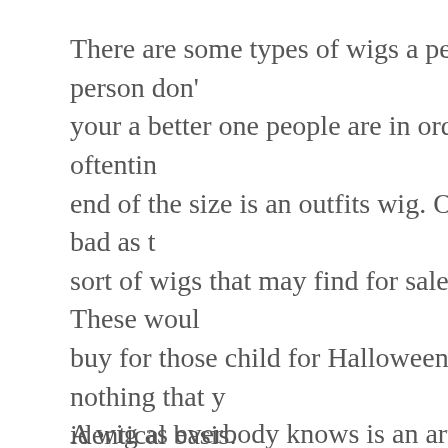There are some types of wigs a person can can buy and a person don't your a better one people are in order to be be utilizing it more oftentin end of the size is an outfits wig. Of those ingredients about as bad as t sort of wigs that may find for sale stores and also the like. These woul buy for those child for Halloween or a party, substantial nothing that y identical basis.
A wig as everbody knows is an artificial hairpiece that's used to the h wigs require you to put a thin, translucent net over your remaining hai quite snugly. Some wigs have spacious insides, so your natural hair w even a few breathing capacity.
Overall, hair wigs become the most durable and can last up in order to exactly how to well you are care masters. Synthetic hair wigs usually should constantly wear them. Human hair can be flat ironed and synth
When considering human hair, Indian and Chinese are the preferred c black hair, while Russian hair is the preferred choice for blonde hair p selection for hair extensions although human hair is used as hair exto